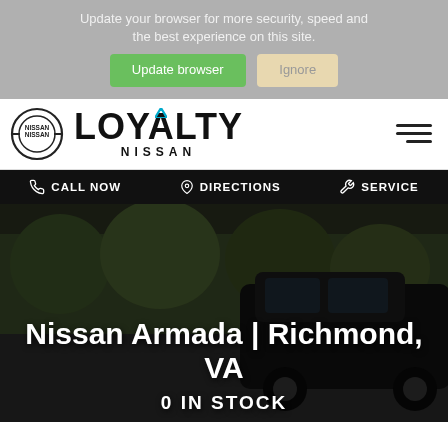Update your browser for more security, speed and the best experience on this site.
Update browser | Ignore
[Figure (logo): Loyalty Nissan dealership logo with Nissan circular emblem on left and LOYALTY NISSAN text on right, hamburger menu icon on far right]
CALL NOW   DIRECTIONS   SERVICE
[Figure (photo): Dark SUV (Nissan Armada) parked on a tree-lined suburban street, hero image with overlay text]
Nissan Armada | Richmond, VA
0 IN STOCK